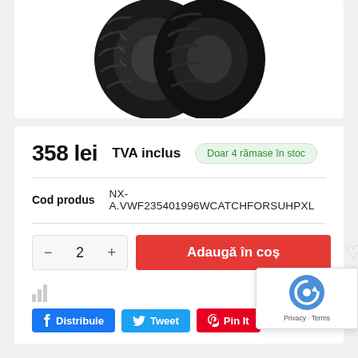[Figure (photo): Tire product image showing black rubber tire tread, cropped at top]
358 lei   TVA inclus
Doar 4 rămase în stoc
Cod produs   NX-A.VWF235401996WCATCHFORSUHPXL
2
Adaugă în coș
[Figure (other): Google reCAPTCHA widget with logo and Privacy/Terms links]
f Distribuie   Tweet   Pin It